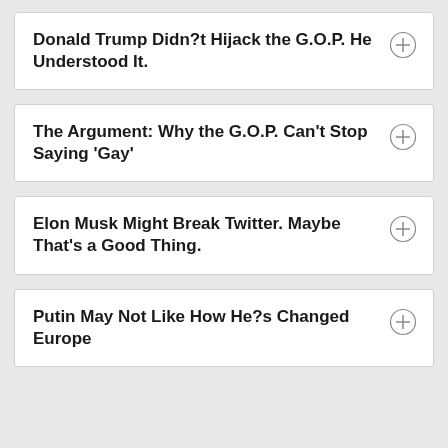Donald Trump Didn?t Hijack the G.O.P. He Understood It.
The Argument: Why the G.O.P. Can't Stop Saying 'Gay'
Elon Musk Might Break Twitter. Maybe That's a Good Thing.
Putin May Not Like How He?s Changed Europe